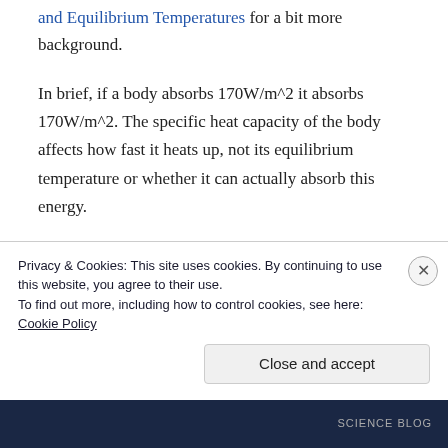and Equilibrium Temperatures for a bit more background.
In brief, if a body absorbs 170W/m^2 it absorbs 170W/m^2. The specific heat capacity of the body affects how fast it heats up, not its equilibrium temperature or whether it can actually absorb this energy.
And a body at a given temperature radiates an amount according to the Stefan-Boltzmann law (proportional to absolute temp ^4) – regardless
Privacy & Cookies: This site uses cookies. By continuing to use this website, you agree to their use.
To find out more, including how to control cookies, see here: Cookie Policy